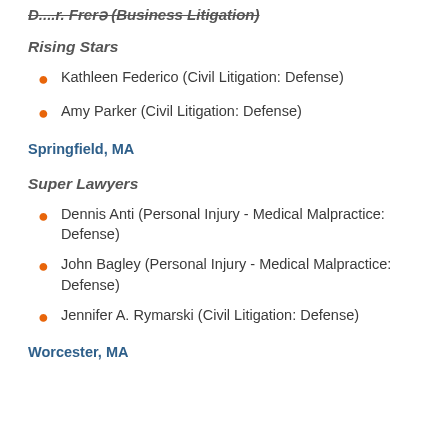D...r. Frerə (Business Litigation)
Rising Stars
Kathleen Federico (Civil Litigation: Defense)
Amy Parker (Civil Litigation: Defense)
Springfield, MA
Super Lawyers
Dennis Anti (Personal Injury - Medical Malpractice: Defense)
John Bagley (Personal Injury - Medical Malpractice: Defense)
Jennifer A. Rymarski (Civil Litigation: Defense)
Worcester, MA